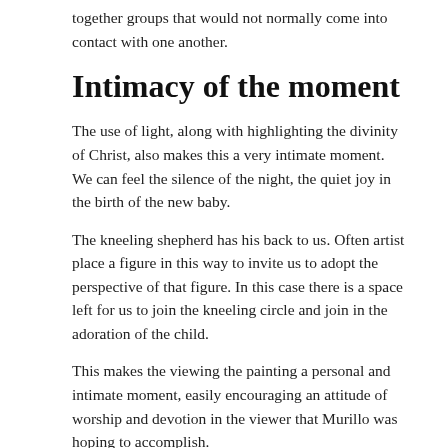together groups that would not normally come into contact with one another.
Intimacy of the moment
The use of light, along with highlighting the divinity of Christ, also makes this a very intimate moment. We can feel the silence of the night, the quiet joy in the birth of the new baby.
The kneeling shepherd has his back to us. Often artist place a figure in this way to invite us to adopt the perspective of that figure. In this case there is a space left for us to join the kneeling circle and join in the adoration of the child.
This makes the viewing the painting a personal and intimate moment, easily encouraging an attitude of worship and devotion in the viewer that Murillo was hoping to accomplish.